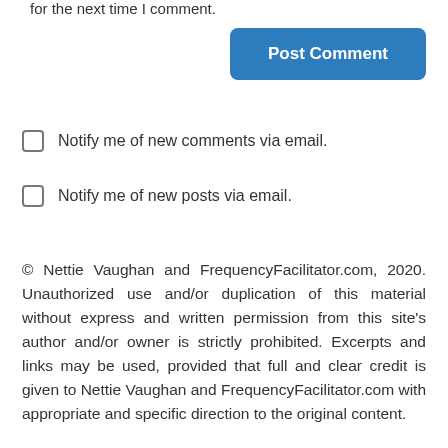for the next time I comment.
Post Comment
Notify me of new comments via email.
Notify me of new posts via email.
© Nettie Vaughan and FrequencyFacilitator.com, 2020. Unauthorized use and/or duplication of this material without express and written permission from this site's author and/or owner is strictly prohibited. Excerpts and links may be used, provided that full and clear credit is given to Nettie Vaughan and FrequencyFacilitator.com with appropriate and specific direction to the original content.